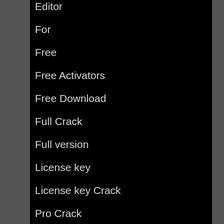Editor
For
Free
Free Activators
Free Download
Full Crack
Full version
License key
License key Crack
Pro Crack